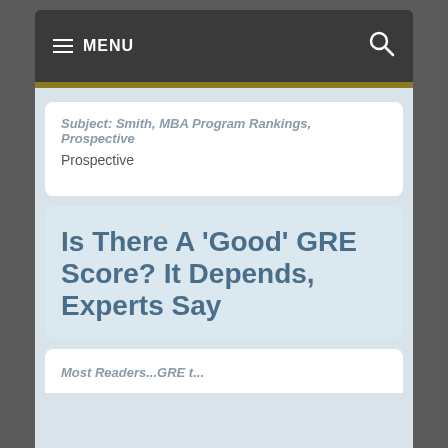≡ MENU
Subject: Smith, MBA Program Rankings, Prospective
Is There A 'Good' GRE Score? It Depends, Experts Say
Most Readers...GRE t...
I use cookies to ensure that you get the best experience on this website. If you continue to use this site I will assume that you are OK with it.
OK